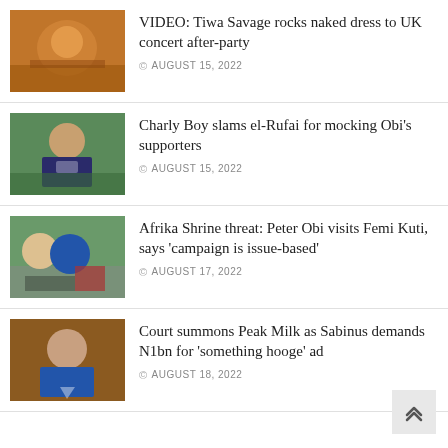VIDEO: Tiwa Savage rocks naked dress to UK concert after-party
© AUGUST 15, 2022
Charly Boy slams el-Rufai for mocking Obi's supporters
© AUGUST 15, 2022
Afrika Shrine threat: Peter Obi visits Femi Kuti, says 'campaign is issue-based'
© AUGUST 17, 2022
Court summons Peak Milk as Sabinus demands N1bn for 'something hooge' ad
© AUGUST 18, 2022